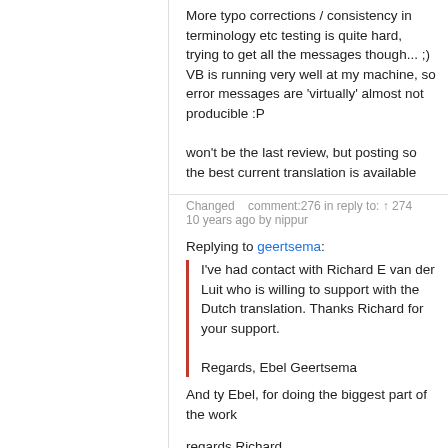More typo corrections / consistency in terminology etc testing is quite hard, trying to get all the messages though... ;) VB is running very well at my machine, so error messages are 'virtually' almost not producible :P

won't be the last review, but posting so the best current translation is available
Changed   comment:276 in reply to: ↑ 274
10 years ago by nippur
Replying to geertsema:

I've had contact with Richard E van der Luit who is willing to support with the Dutch translation. Thanks Richard for your support.

Regards, Ebel Geertsema
And ty Ebel, for doing the biggest part of the work
regards Richard
Changed 10 years ago by comment:277
michael
Description modified (diff)